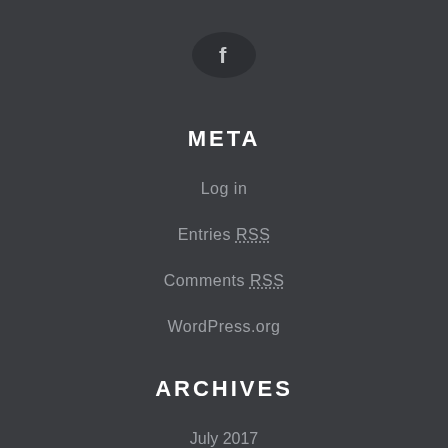[Figure (logo): Facebook icon - dark circular button with white lowercase 'f' letter]
META
Log in
Entries RSS
Comments RSS
WordPress.org
ARCHIVES
July 2017